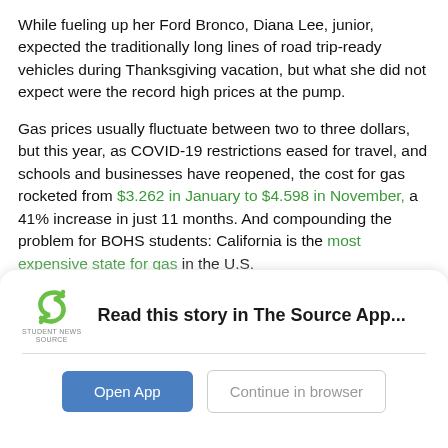While fueling up her Ford Bronco, Diana Lee, junior, expected the traditionally long lines of road trip-ready vehicles during Thanksgiving vacation, but what she did not expect were the record high prices at the pump.
Gas prices usually fluctuate between two to three dollars, but this year, as COVID-19 restrictions eased for travel, and schools and businesses have reopened, the cost for gas rocketed from $3.262 in January to $4.598 in November, a 41% increase in just 11 months. And compounding the problem for BOHS students: California is the most expensive state for gas in the U.S.
Why are gas prices currently the highest ever for teen drivers? An increase in travel and commuters led to higher demand for gas. Because suppliers struggled to meet those demands due to the [partial]
[Figure (screenshot): App promotion overlay card with Student News Source logo, 'Read this story in The Source App...' text, 'Open App' blue button, and 'Continue in browser' outlined button]